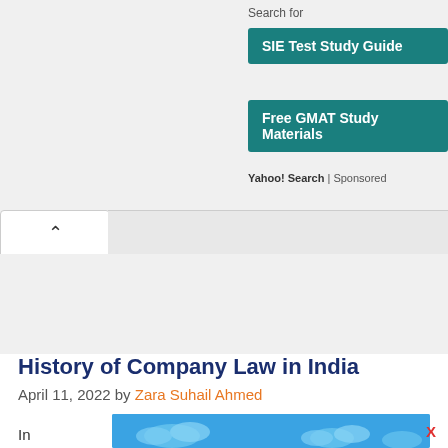Search for
SIE Test Study Guide
Free GMAT Study Materials
Yahoo! Search | Sponsored
[Figure (screenshot): Web page UI with collapse tab (^) and gray bar]
[Figure (other): Gray advertisement placeholder area]
History of Company Law in India
April 11, 2022 by Zara Suhail Ahmed
In
[Figure (illustration): Blue sky with clouds image, partially visible at bottom of page]
X